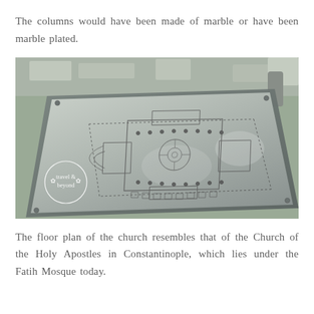The columns would have been made of marble or have been marble plated.
[Figure (photo): A photograph of an architectural floor plan engraved or etched onto a large metal/stone plaque mounted at an angle. The plan shows a Byzantine-style church layout with dotted boundary lines, interior rooms and apse features. A 'travel & beyond' watermark logo (circle with decorative elements) is visible in the lower-left corner of the image. Stone ruins are faintly visible in the background.]
The floor plan of the church resembles that of the Church of the Holy Apostles in Constantinople, which lies under the Fatih Mosque today.